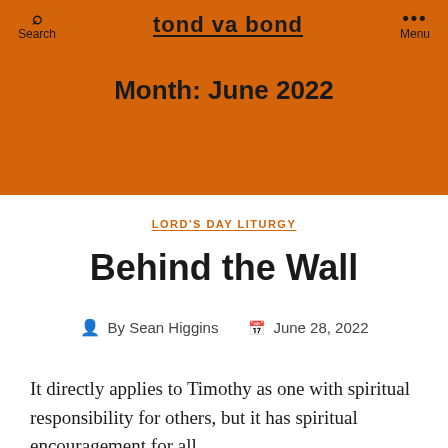tond va bond
Month: June 2022
LORD'S DAY LITURGY
Behind the Wall
By Sean Higgins   June 28, 2022
It directly applies to Timothy as one with spiritual responsibility for others, but it has spiritual encouragement for all.